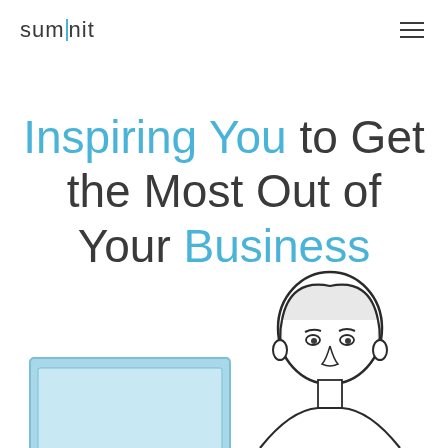summit
Inspiring You to Get the Most Out of Your Business
[Figure (illustration): Line-art illustration of a man at a desk/laptop, partially visible at the bottom of the page. A blue monitor/screen shape is visible to the lower left.]